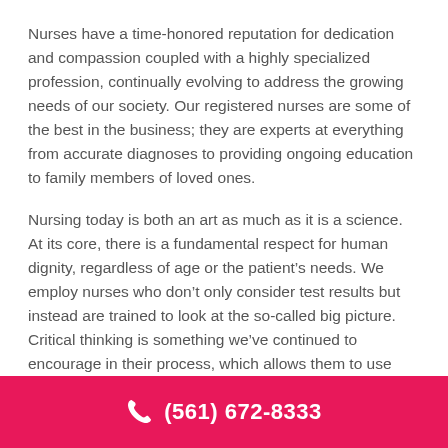Nurses have a time-honored reputation for dedication and compassion coupled with a highly specialized profession, continually evolving to address the growing needs of our society. Our registered nurses are some of the best in the business; they are experts at everything from accurate diagnoses to providing ongoing education to family members of loved ones.
Nursing today is both an art as much as it is a science. At its core, there is a fundamental respect for human dignity, regardless of age or the patient's needs. We employ nurses who don't only consider test results but instead are trained to look at the so-called big picture. Critical thinking is something we've continued to encourage in their process, which allows them to use good judgment to help patients. That is why your aging
(561) 672-8333